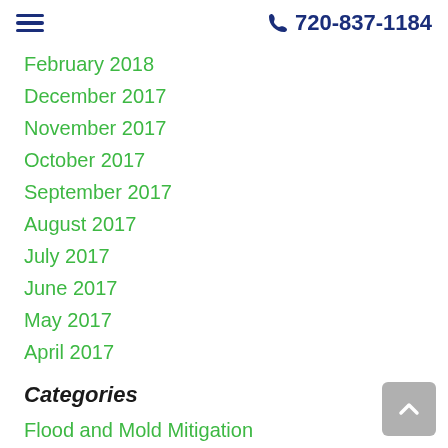☰  720-837-1184
February 2018
December 2017
November 2017
October 2017
September 2017
August 2017
July 2017
June 2017
May 2017
April 2017
Categories
Flood and Mold Mitigation